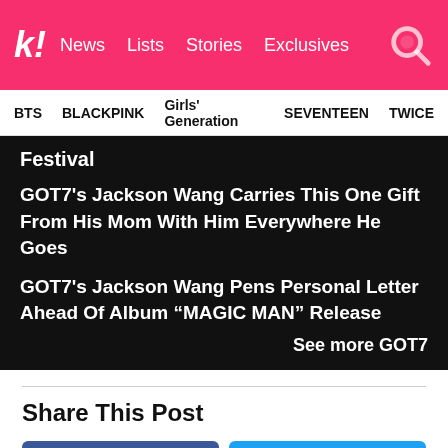Koreaboo | News | Lists | Stories | Exclusives
BTS | BLACKPINK | Girls' Generation | SEVENTEEN | TWICE
Festival
GOT7's Jackson Wang Carries This One Gift From His Mom With Him Everywhere He Goes
GOT7's Jackson Wang Pens Personal Letter Ahead Of Album “MAGIC MAN” Release
See more GOT7
Share This Post
Facebook
Twitter